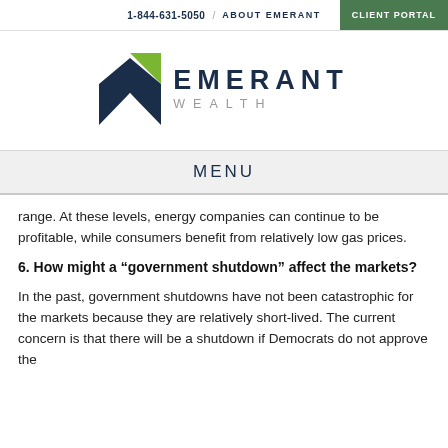1-844-631-5050 / ABOUT EMERANT | CLIENT PORTAL
[Figure (logo): Emerant Wealth logo with navy and green arrow/chevron icon and text EMERANT WEALTH]
MENU
range. At these levels, energy companies can continue to be profitable, while consumers benefit from relatively low gas prices.
6. How might a “government shutdown” affect the markets?
In the past, government shutdowns have not been catastrophic for the markets because they are relatively short-lived. The current concern is that there will be a shutdown if Democrats do not approve the